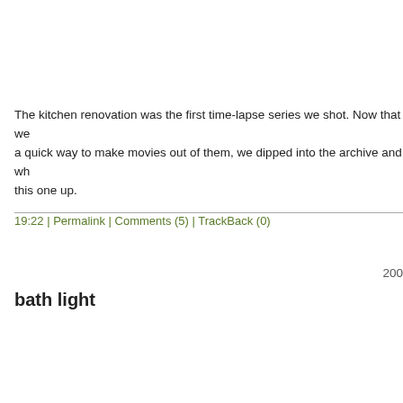The kitchen renovation was the first time-lapse series we shot. Now that we have a quick way to make movies out of them, we dipped into the archive and whipped this one up.
19:22 | Permalink | Comments (5) | TrackBack (0)
200
bath light